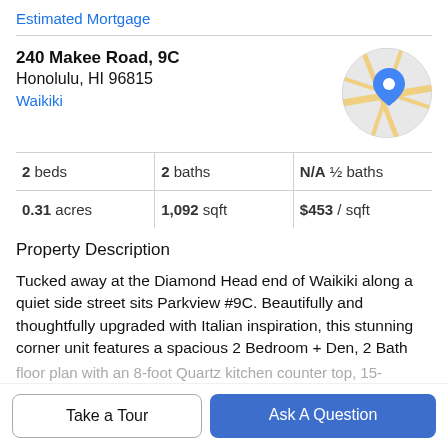Estimated Mortgage
240 Makee Road, 9C
Honolulu, HI 96815
Waikiki
[Figure (map): Circular map thumbnail showing a blue location pin marker on a street map.]
| 2 beds | 2 baths | N/A ½ baths |
| 0.31 acres | 1,092 sqft | $453 / sqft |
Property Description
Tucked away at the Diamond Head end of Waikiki along a quiet side street sits Parkview #9C. Beautifully and thoughtfully upgraded with Italian inspiration, this stunning corner unit features a spacious 2 Bedroom + Den, 2 Bath
floor plan with an 8-foot Quartz kitchen counter top, 15-
Take a Tour
Ask A Question